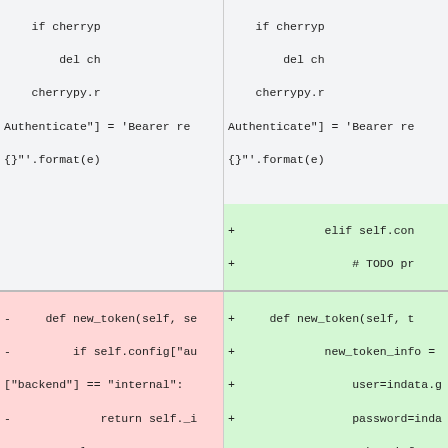[Figure (screenshot): A code diff view split into two columns (left: removed lines in red/neutral, right: added lines in green/neutral). Top half shows Python code for cherrypy authentication token handling. Bottom half shows a diff of new_token method with removed lines on left (red) and added lines on right (green).]